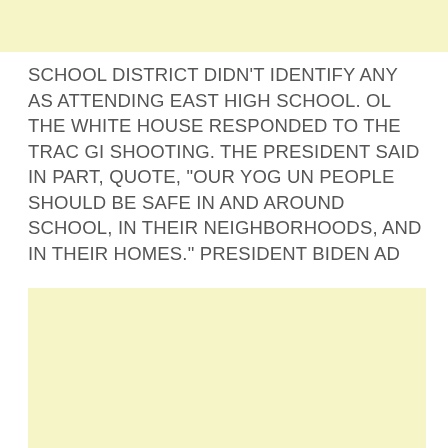SCHOOL DISTRICT DIDN'T IDENTIFY ANY AS ATTENDING EAST HIGH SCHOOL. OL THE WHITE HOUSE RESPONDED TO THE TRAC GI SHOOTING. THE PRESIDENT SAID IN PART, QUOTE, “OUR YOG UN PEOPLE SHOULD BE SAFE IN AND AROUND SCHOOL, IN THEIR NEIGHBORHOODS, AND IN THEIR HOMES.” PRESIDENT BIDEN AD
[Figure (other): Light yellow rectangular placeholder/advertisement block]